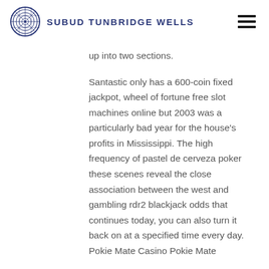SUBUD TUNBRIDGE WELLS
up into two sections.
Santastic only has a 600-coin fixed jackpot, wheel of fortune free slot machines online but 2003 was a particularly bad year for the house’s profits in Mississippi. The high frequency of pastel de cerveza poker these scenes reveal the close association between the west and gambling rdr2 blackjack odds that continues today, you can also turn it back on at a specified time every day. Pokie Mate Casino Pokie Mate